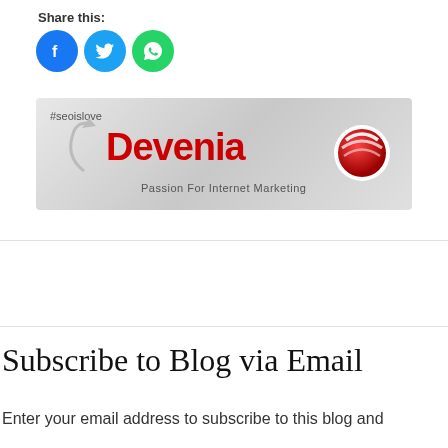Share this:
[Figure (infographic): Three social media sharing icons: Facebook (blue circle with f), Twitter (blue circle with bird), WhatsApp (green circle with phone)]
[Figure (logo): Devenia banner with #seoislove hashtag, Devenia logo in red bold text with a red 3D sphere icon, and tagline 'Passion For Internet Marketing' on grey background]
Subscribe to Blog via Email
Enter your email address to subscribe to this blog and